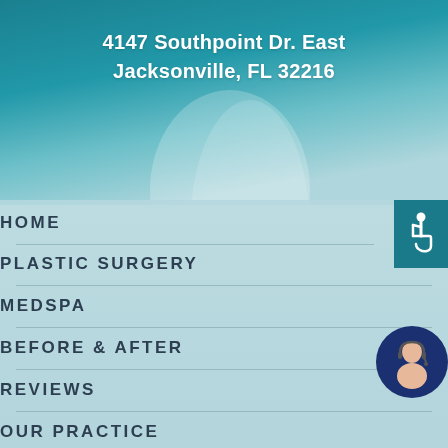4147 Southpoint Dr. East
Jacksonville, FL 32216
HOME
PLASTIC SURGERY
MEDSPA
BEFORE & AFTER
REVIEWS
OUR PRACTICE
[Figure (illustration): Teal/blue sky background with clouds, fading into lighter tones in lower portion]
[Figure (illustration): Wheelchair accessibility symbol icon in white on teal square background]
[Figure (photo): Woman with headset/earpiece on dark blue circular background, representing customer support]